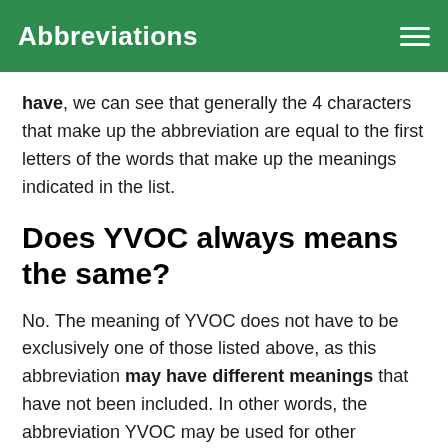Abbreviations
have, we can see that generally the 4 characters that make up the abbreviation are equal to the first letters of the words that make up the meanings indicated in the list.
Does YVOC always means the same?
No. The meaning of YVOC does not have to be exclusively one of those listed above, as this abbreviation may have different meanings that have not been included. In other words, the abbreviation YVOC may be used for other